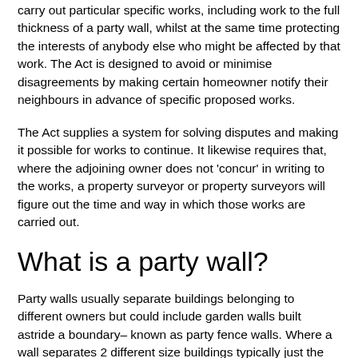carry out particular specific works, including work to the full thickness of a party wall, whilst at the same time protecting the interests of anybody else who might be affected by that work. The Act is designed to avoid or minimise disagreements by making certain homeowner notify their neighbours in advance of specific proposed works.
The Act supplies a system for solving disputes and making it possible for works to continue. It likewise requires that, where the adjoining owner does not 'concur' in writing to the works, a property surveyor or property surveyors will figure out the time and way in which those works are carried out.
What is a party wall?
Party walls usually separate buildings belonging to different owners but could include garden walls built astride a boundary– known as party fence walls. Where a wall separates 2 different size buildings typically just the part that is used by both residential or commercial properties is a